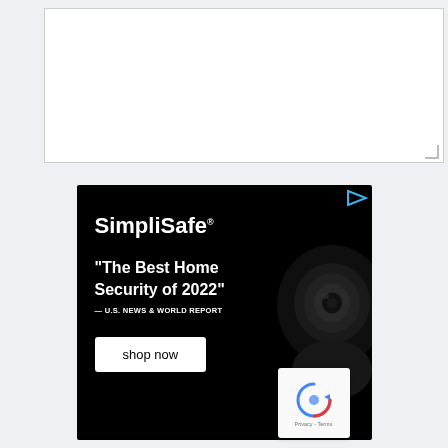[Figure (screenshot): Text input area (textarea) with resize handle at bottom right, on a light gray background]
[Figure (screenshot): Toolbar with video icon button (dark), image icon button (dark), and a blue 'Add Answer' button with pencil icon on the right]
[Figure (screenshot): SimpliSafe advertisement banner on black background showing security camera, text 'SimpliSafe', '"The Best Home Security of 2022"', '— U.S. NEWS & WORLD REPORT', and 'shop now' button. A reCAPTCHA badge appears in the bottom right corner.]